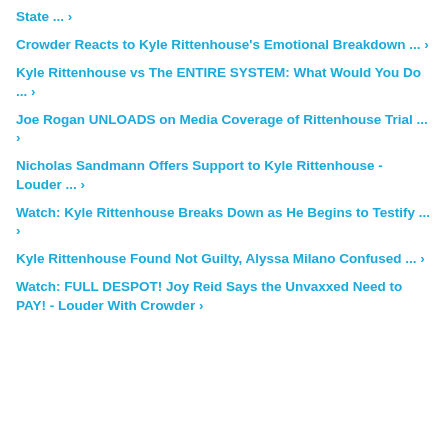State ... ›
Crowder Reacts to Kyle Rittenhouse's Emotional Breakdown ... ›
Kyle Rittenhouse vs The ENTIRE SYSTEM: What Would You Do ... ›
Joe Rogan UNLOADS on Media Coverage of Rittenhouse Trial ... ›
Nicholas Sandmann Offers Support to Kyle Rittenhouse - Louder ... ›
Watch: Kyle Rittenhouse Breaks Down as He Begins to Testify ... ›
Kyle Rittenhouse Found Not Guilty, Alyssa Milano Confused ... ›
Watch: FULL DESPOT! Joy Reid Says the Unvaxxed Need to PAY! - Louder With Crowder ›